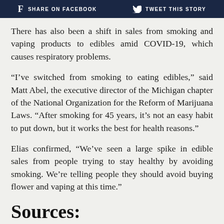f SHARE ON FACEBOOK   Twitter TWEET THIS STORY
There has also been a shift in sales from smoking and vaping products to edibles amid COVID-19, which causes respiratory problems.
“I’ve switched from smoking to eating edibles,” said Matt Abel, the executive director of the Michigan chapter of the National Organization for the Reform of Marijuana Laws. “After smoking for 45 years, it’s not an easy habit to put down, but it works the best for health reasons.”
Elias confirmed, “We’ve seen a large spike in edible sales from people trying to stay healthy by avoiding smoking. We’re telling people they should avoid buying flower and vaping at this time.”
Sources:
How Michigan’s stay home order is impacting legal weed